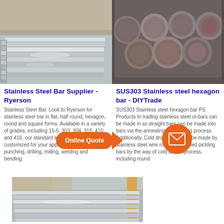[Figure (photo): Stainless steel flat sheets stacked in warehouse]
[Figure (photo): Stainless steel round bars/rods bundled together]
Stainless Steel Bar Supplier - Ryerson
SUS303 Stainless steel hexagon bar - DIYTrade
Stainless Steel Bar. Look to Ryerson for stainless steel bar in flat, half round, hexagon, round and square forms. Available in a variety of grades, including 15-5, 303, 304, 316, 410 and 416, our standard lengths can be customized for your applications by sawing, punching, drilling, milling, welding and bending.
SUS303 Stainless steel hexagon bar PS Products In trading stainless steel ot-bars can be made in ss straight bars can be made into bars via the annealing and peeling process. Additionally, Cold drawn bars can be made by stainless steel wire rods or hot-rolled pickling bars by the way of cold drawn process, including round
[Figure (photo): Stainless steel flat sheets stacked in warehouse, bottom section]